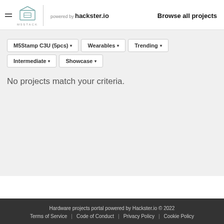M5STACK powered by hackster.io | Browse all projects
M5Stamp C3U (5pcs) ▾
Wearables ▾
Trending ▾
Intermediate ▾
Showcase ▾
No projects match your criteria.
Hardware projects portal powered by Hackster.io © 2022
Terms of Service    Code of Conduct    Privacy Policy    Cookie Policy